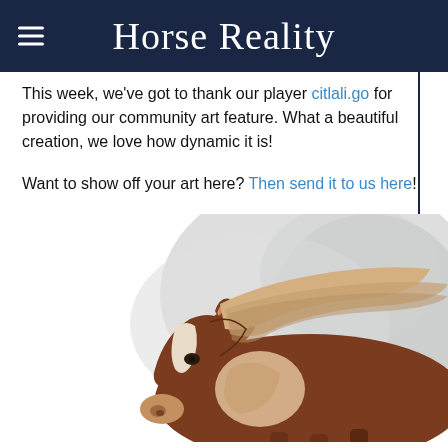Horse Reality
This week, we've got to thank our player [link] for providing our community art feature. What a beautiful creation, we love how dynamic it is!

Want to show off your art here? Then send it to us here!
[Figure (illustration): Digital illustration of a brown and white paint horse running, with a flowing mane and a misty grey background]